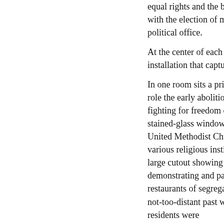equal rights and the breaking of glass ceilings with the election of minorities and women to political office. At the center of each room is a large installation that captures the theme. In one room sits a printing press to honor the role the early abolitionist newspapers played in fighting for freedom of the press. In another, a stained-glass window originally from Asbury United Methodist Church represents the city's various religious institutions. One room has a large cutout showing civil rights leaders demonstrating and participating in sit-ins at restaurants of segregation. It offers a look at a not-too-distant past when even Annapolis residents were